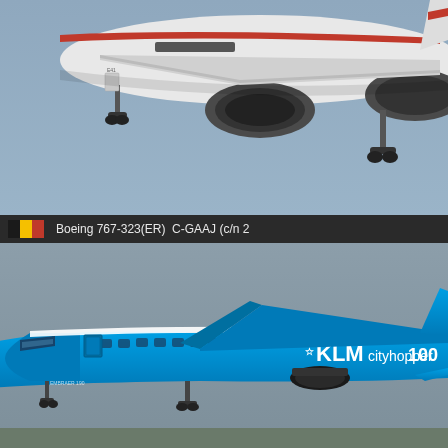[Figure (photo): Close-up underside view of a white aircraft with red stripe livery (Air Canada Boeing 767) in flight against a blue-grey sky, landing gear partially visible, twin engines visible.]
Boeing 767-323(ER)  C-GAAJ (c/n …
[Figure (photo): Side view of a KLM Cityhopper Embraer 190 regional jet in bright blue KLM livery with 'KLM cityhopper 100' text on fuselage, taxiing or in low flight against overcast grey sky.]